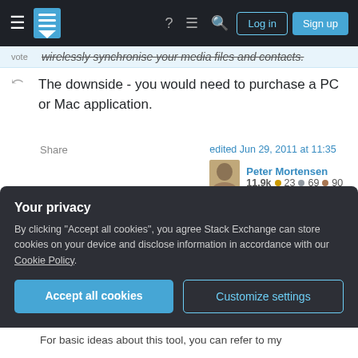Stack Exchange navigation header with Log in and Sign up buttons
wirelessly synchronise your media files and contacts.
The downside - you would need to purchase a PC or Mac application.
Share
edited Jun 29, 2011 at 11:35
Peter Mortensen
11.9k ●23 ●69 ●90
answered Sep 28, 2010 at 3:25
GeneG
11 ●1
Add a comment
Your privacy
By clicking "Accept all cookies", you agree Stack Exchange can store cookies on your device and disclose information in accordance with our Cookie Policy.
Accept all cookies
Customize settings
For basic ideas about this tool, you can refer to my